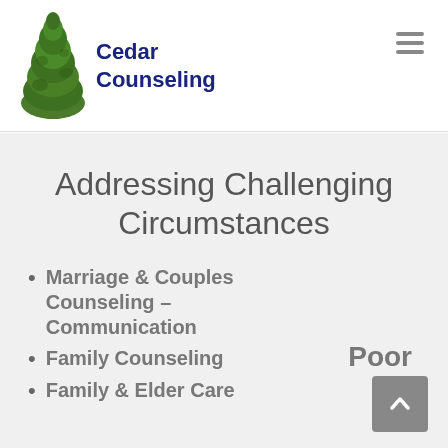[Figure (logo): Cedar Counseling logo with a green cedar tree illustration and bold navy text reading 'Cedar Counseling']
Addressing Challenging Circumstances
Marriage & Couples Counseling – Poor Communication
Family Counseling
Family & Elder Care